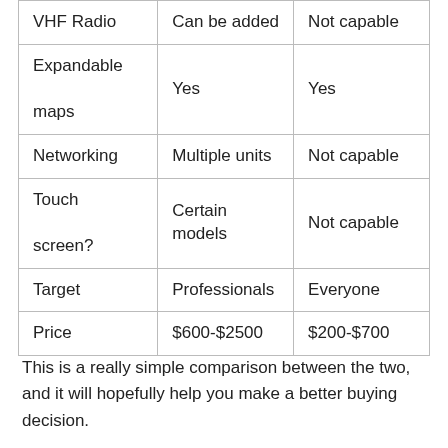| VHF Radio | Can be added | Not capable |
| Expandable maps | Yes | Yes |
| Networking | Multiple units | Not capable |
| Touch screen? | Certain models | Not capable |
| Target | Professionals | Everyone |
| Price | $600-$2500 | $200-$700 |
This is a really simple comparison between the two, and it will hopefully help you make a better buying decision.